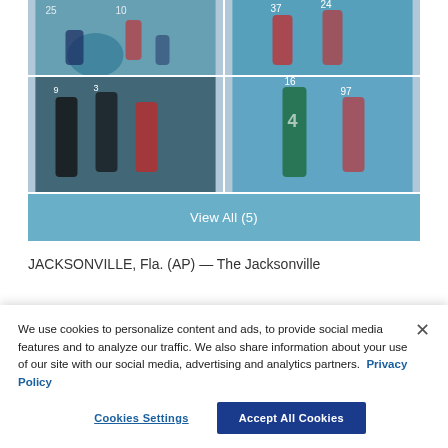[Figure (photo): Grid of four NFL football game action photos showing players from Jacksonville Jaguars and Houston Texans]
View All (5)
JACKSONVILLE, Fla. (AP) — The Jacksonville
We use cookies to personalize content and ads, to provide social media features and to analyze our traffic. We also share information about your use of our site with our social media, advertising and analytics partners. Privacy Policy
Cookies Settings
Accept All Cookies